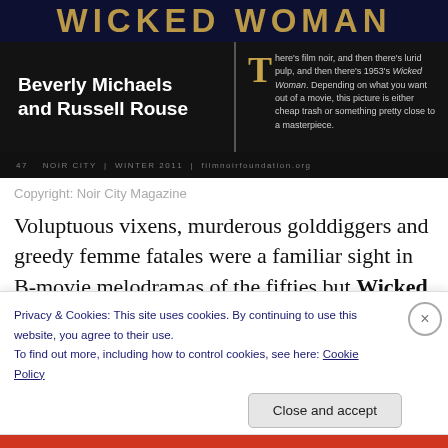[Figure (screenshot): Magazine article image showing 'WICKED WOMAN' title in large letters on dark background, with 'Beverly Michaels and Russell Rouse' text on left and a pull-quote on right, styled like a film noir magazine spread from Noir City Magazine, Winter 2011.]
Copyright: Noir City Magazine
Voluptuous vixens, murderous golddiggers and greedy femme fatales were a familiar sight in B-movie melodramas of the fifties but Wicked Woman (1953) stands out from the rest of the pack. The look and feel of
Privacy & Cookies: This site uses cookies. By continuing to use this website, you agree to their use.
To find out more, including how to control cookies, see here: Cookie Policy
Close and accept